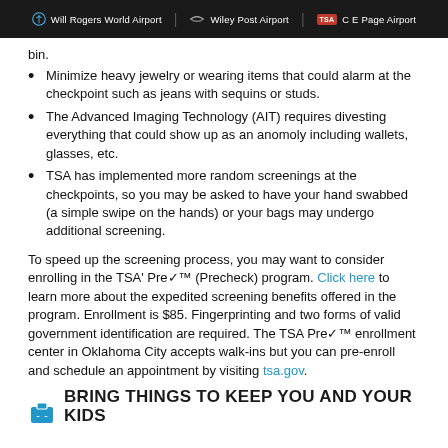Will Rogers World Airport | Wiley Post Airport | C E Page Airport
bin.
Minimize heavy jewelry or wearing items that could alarm at the checkpoint such as jeans with sequins or studs.
The Advanced Imaging Technology (AIT) requires divesting everything that could show up as an anomoly including wallets, glasses, etc.
TSA has implemented more random screenings at the checkpoints, so you may be asked to have your hand swabbed (a simple swipe on the hands) or your bags may undergo additional screening.
To speed up the screening process, you may want to consider enrolling in the TSA' Pre✓™ (Precheck) program. Click here to learn more about the expedited screening benefits offered in the program. Enrollment is $85. Fingerprinting and two forms of valid government identification are required. The TSA Pre✓™ enrollment center in Oklahoma City accepts walk-ins but you can pre-enroll and schedule an appointment by visiting tsa.gov.
BRING THINGS TO KEEP YOU AND YOUR KIDS